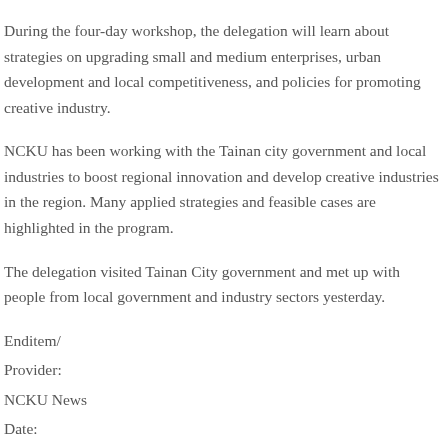During the four-day workshop, the delegation will learn about strategies on upgrading small and medium enterprises, urban development and local competitiveness, and policies for promoting creative industry.
NCKU has been working with the Tainan city government and local industries to boost regional innovation and develop creative industries in the region. Many applied strategies and feasible cases are highlighted in the program.
The delegation visited Tainan City government and met up with people from local government and industry sectors yesterday.
Enditem/
Provider:
NCKU News
Date:
2016/11/24